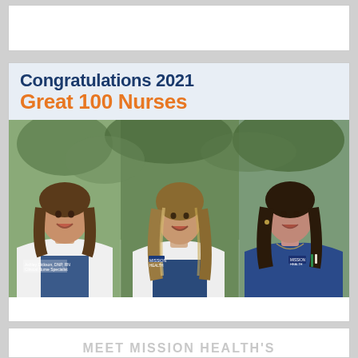[Figure (photo): White rectangular box at top of page, appears to be a header placeholder area]
[Figure (infographic): Congratulations 2021 Great 100 Nurses announcement card from Mission Health featuring photos of three female nurses in scrubs and white coats, smiling]
MEET MISSION HEALTH'S